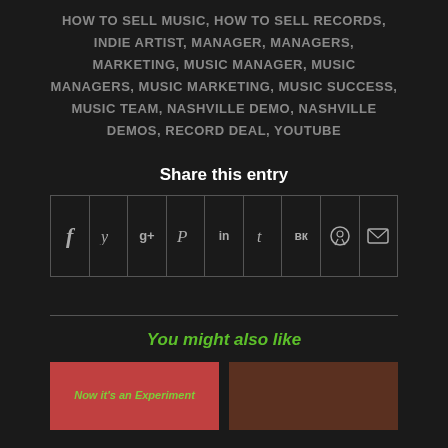HOW TO SELL MUSIC, HOW TO SELL RECORDS, INDIE ARTIST, MANAGER, MANAGERS, MARKETING, MUSIC MANAGER, MUSIC MANAGERS, MUSIC MARKETING, MUSIC SUCCESS, MUSIC TEAM, NASHVILLE DEMO, NASHVILLE DEMOS, RECORD DEAL, YOUTUBE
Share this entry
[Figure (other): Social media sharing icons row: Facebook, Twitter, Google+, Pinterest, LinkedIn, Tumblr, VK, Reddit, Mail]
You might also like
[Figure (photo): Two thumbnail images for related articles. Left thumbnail shows red background with green italic text 'Now it's an Experiment'. Right thumbnail shows a warm-toned photo.]